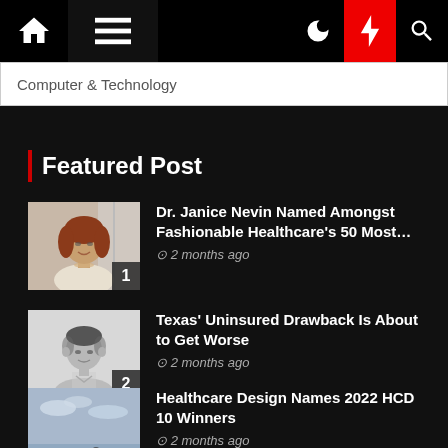Computer & Technology — navigation bar with home, menu, moon, lightning, and search icons
Computer & Technology
Featured Post
Dr. Janice Nevin Named Amongst Fashionable Healthcare's 50 Most…
2 months ago
Texas' Uninsured Drawback Is About to Get Worse
2 months ago
Healthcare Design Names 2022 HCD 10 Winners
2 months ago